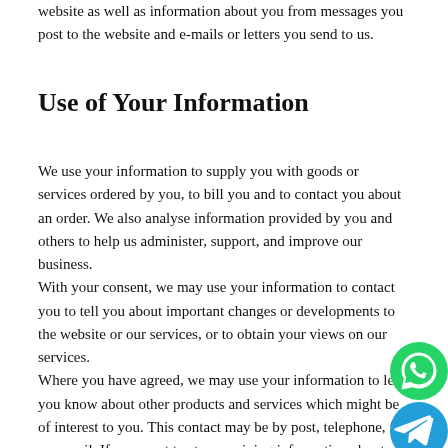website as well as information about you from messages you post to the website and e-mails or letters you send to us.
Use of Your Information
We use your information to supply you with goods or services ordered by you, to bill you and to contact you about an order. We also analyse information provided by you and others to help us administer, support, and improve our business.
With your consent, we may use your information to contact you to tell you about important changes or developments to the website or our services, or to obtain your views on our services.
Where you have agreed, we may use your information to let you know about other products and services which might be of interest to you. This contact may be by post, telephone, fax or e-mail. If you want to stop receiving information about other products and services, you can opt out at any time contacting us (i) by post at CM Weldon, Powerscourt Townhouse Centre, South William Street, Dublin 2 Ireland or